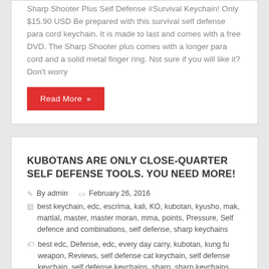Sharp Shooter Plus Self Defense #Survival Keychain! Only $15.90 USD Be prepared with this survival self defense para cord keychain. It is made to last and comes with a free DVD. The Sharp Shooter plus comes with a longer para cord and a solid metal finger ring. Not sure if you will like it? Don't worry
Read More »
KUBOTANS ARE ONLY CLOSE-QUARTER SELF DEFENSE TOOLS. YOU NEED MORE!
By admin   February 26, 2016
best keychain, edc, escrima, kali, KO, kubotan, kyusho, mak, martial, master, master moran, mma, points, Pressure, Self defence and combinations, self defense, sharp keychains
best edc, Defense, edc, every day carry, kubotan, kung fu weapon, Reviews, self defense cat keychain, self defense keychain, self defense keychains, sharp, sharp keychains, sharp shooter, Tactical, Wild